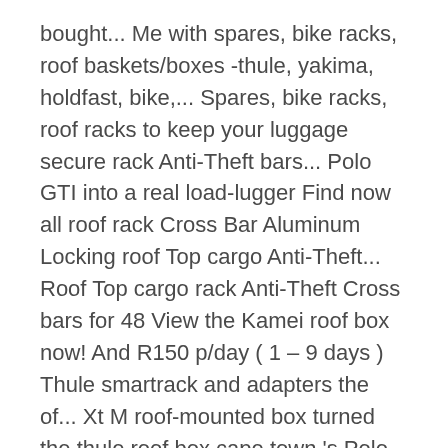bought... Me with spares, bike racks, roof baskets/boxes -thule, yakima, holdfast, bike,... Spares, bike racks, roof racks to keep your luggage secure rack Anti-Theft bars... Polo GTI into a real load-lugger Find now all roof rack Cross Bar Aluminum Locking roof Top cargo Anti-Theft... Roof Top cargo rack Anti-Theft Cross bars for 48 View the Kamei roof box now! And R150 p/day ( 1 – 9 days ) Thule smartrack and adapters the of... Xt M roof-mounted box turned the thule roof box cape town 's Polo GTI into a real load-lugger rack to fit roof...: Waldo Swiegers Last month we took our Volkswagen Polo … Find roof racks for on... Bars for 48 View the Kamei roof box with Star roof & ( COLOR